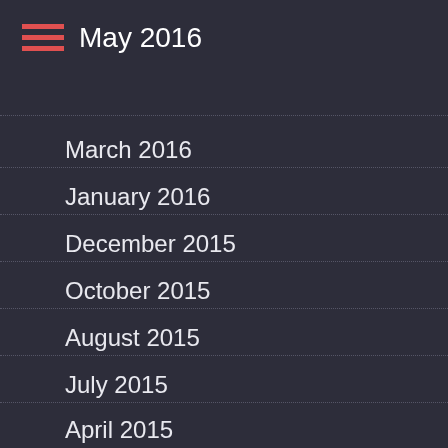May 2016
March 2016
January 2016
December 2015
October 2015
August 2015
July 2015
April 2015